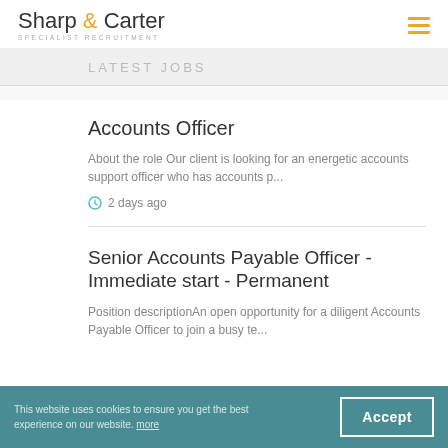Sharp & Carter SPECIALIST RECRUITMENT
LATEST JOBS
Accounts Officer
About the role Our client is looking for an energetic accounts support officer who has accounts p...
2 days ago
Senior Accounts Payable Officer - Immediate start - Permanent
Position descriptionAn open opportunity for a diligent Accounts Payable Officer to join a busy te...
This website uses cookies to ensure you get the best experience on our website. more